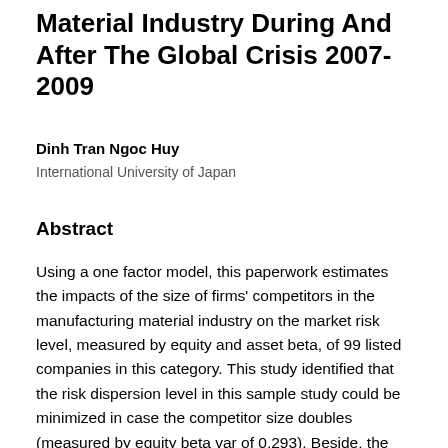Material Industry During And After The Global Crisis 2007-2009
Dinh Tran Ngoc Huy
International University of Japan
Abstract
Using a one factor model, this paperwork estimates the impacts of the size of firms' competitors in the manufacturing material industry on the market risk level, measured by equity and asset beta, of 99 listed companies in this category. This study identified that the risk dispersion level in this sample study could be minimized in case the competitor size doubles (measured by equity beta var of 0,293). Beside, the empirical research findings show us that asset beta max value increases from 1,162 to 1,445 when the size of competitor doubles. Last but not least, most of beta values are